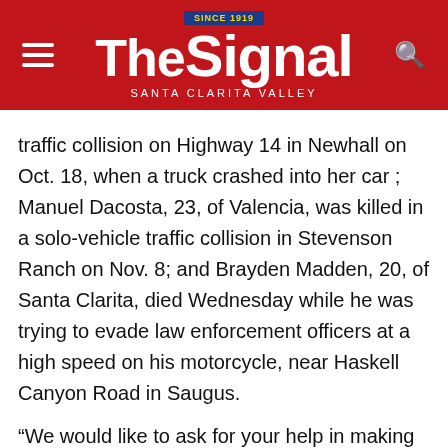The Signal — Santa Clarita Valley
traffic collision on Highway 14 in Newhall on Oct. 18, when a truck crashed into her car ; Manuel Dacosta, 23, of Valencia, was killed in a solo-vehicle traffic collision in Stevenson Ranch on Nov. 8; and Brayden Madden, 20, of Santa Clarita, died Wednesday while he was trying to evade law enforcement officers at a high speed on his motorcycle, near Haskell Canyon Road in Saugus.
“We would like to ask for your help in making our roads safer for everyone by slowing down, keeping a safe distance of at least one vehicle between you and the vehicle in front of you and adhere to traffic